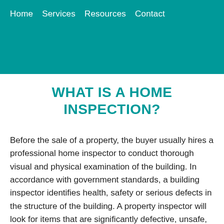Home   Services   Resources   Contact
WHAT IS A HOME INSPECTION?
Before the sale of a property, the buyer usually hires a professional home inspector to conduct thorough visual and physical examination of the building. In accordance with government standards, a building inspector identifies health, safety or serious defects in the structure of the building. A property inspector will look for items that are significantly defective, unsafe, near the end of their service life or not working properly